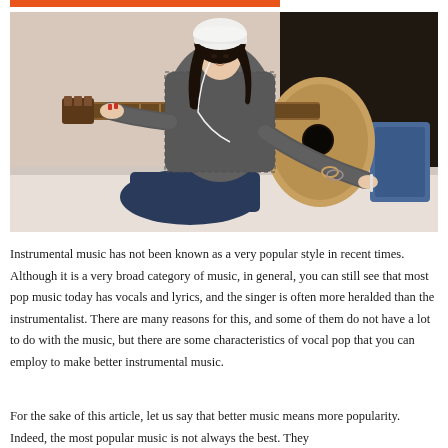[Figure (photo): A young woman with dark hair wearing a white beanie and grey knit sweater, sitting cross-legged on a bed holding an acoustic guitar, writing notes with her right hand, wearing earphones.]
Instrumental music has not been known as a very popular style in recent times. Although it is a very broad category of music, in general, you can still see that most pop music today has vocals and lyrics, and the singer is often more heralded than the instrumentalist. There are many reasons for this, and some of them do not have a lot to do with the music, but there are some characteristics of vocal pop that you can employ to make better instrumental music.
For the sake of this article, let us say that better music means more popularity. Indeed, the most popular music is not always the best. They